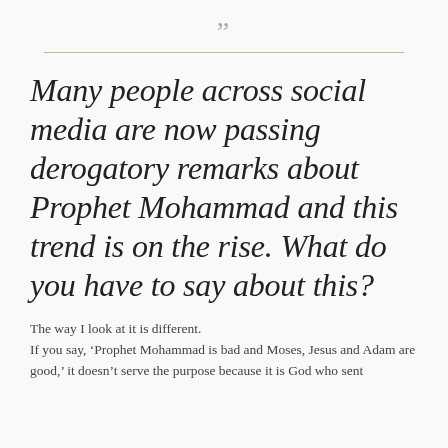“”
Many people across social media are now passing derogatory remarks about Prophet Mohammad and this trend is on the rise. What do you have to say about this?
The way I look at it is different. If you say, ‘Prophet Mohammad is bad and Moses, Jesus and Adam are good,’ it doesn’t serve the purpose because it is God who sent